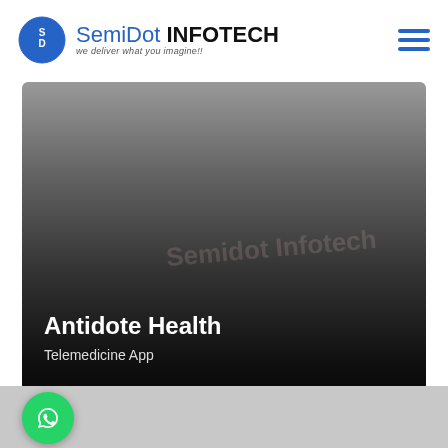SemiDot INFOTECH - we deliver what you imagine!!
[Figure (screenshot): Hero banner with dark gradient background showing Antidote Health Telemedicine App with a watermark reading 'Semidot Infotech' and a 'View Details →' link in blue]
Antidote Health
Telemedicine App
View Details →